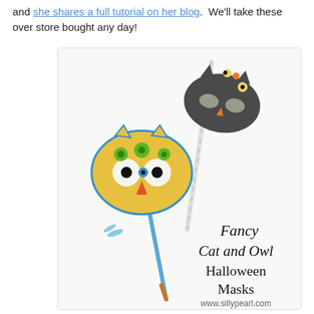and she shares a full tutorial on her blog.  We'll take these over store bought any day!
[Figure (photo): Photo of two handmade Halloween masks on sticks - a yellow owl mask with green flower decorations on the left, and a dark grey cat mask with flower decorations on the right. Text overlay reads 'Fancy Cat and Owl Halloween Masks' with website www.sillypearl.com]